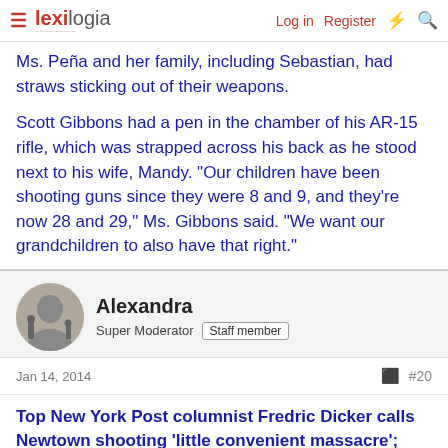lexilogia | Log in | Register
Ms. Pena and her family, including Sebastian, had straws sticking out of their weapons.
Scott Gibbons had a pen in the chamber of his AR-15 rifle, which was strapped across his back as he stood next to his wife, Mandy. “Our children have been shooting guns since they were 8 and 9, and they’re now 28 and 29,” Ms. Gibbons said. “We want our grandchildren to also have that right.”
Alexandra
Super Moderator | Staff member
Jan 14, 2014
#20
Top New York Post columnist Fredric Dicker calls Newtown shooting 'little convenient massacre'; Sandy Hook families demand apology
Dicker, who made the comment Monday on his WGDJ talk show,